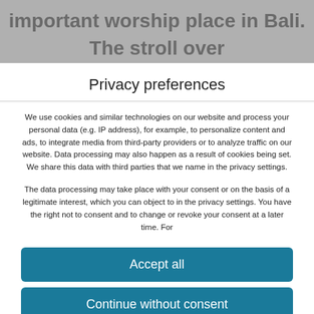[Figure (screenshot): Blurred background webpage text showing partial sentence: 'important worship place in Bali. The stroll over']
Privacy preferences
We use cookies and similar technologies on our website and process your personal data (e.g. IP address), for example, to personalize content and ads, to integrate media from third-party providers or to analyze traffic on our website. Data processing may also happen as a result of cookies being set. We share this data with third parties that we name in the privacy settings.
The data processing may take place with your consent or on the basis of a legitimate interest, which you can object to in the privacy settings. You have the right not to consent and to change or revoke your consent at a later time. For
Accept all
Continue without consent
Set privacy settings individually
Privacy policy • Imprint
Cookie Consent with Real Cookie Banner